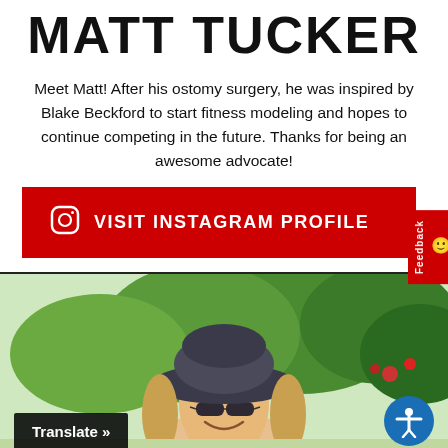MATT TUCKER
Meet Matt! After his ostomy surgery, he was inspired by Blake Beckford to start fitness modeling and hopes to continue competing in the future. Thanks for being an awesome advocate!
[Figure (other): Red button with Instagram icon and text VISIT INSTAGRAM PROFILE]
[Figure (photo): Photo of a woman wearing a wide-brim hat and sunglasses, outdoors with green trees and red flowers in the background. A black Translate button is in the lower left and a blue accessibility icon is in the lower right.]